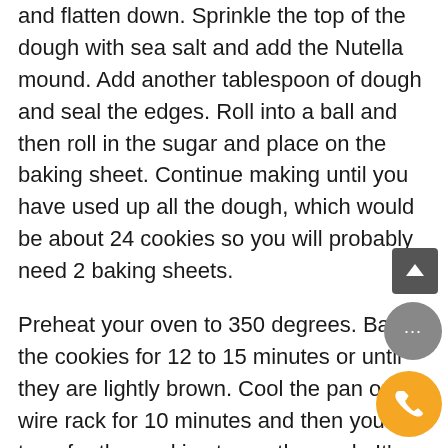and flatten down. Sprinkle the top of the dough with sea salt and add the Nutella mound. Add another tablespoon of dough and seal the edges. Roll into a ball and then roll in the sugar and place on the baking sheet. Continue making until you have used up all the dough, which would be about 24 cookies so you will probably need 2 baking sheets.
Preheat your oven to 350 degrees. Bake the cookies for 12 to 15 minutes or until they are lightly brown. Cool the pan on a wire rack for 10 minutes and then you can transfer the cookies to another rack. It's a delicious cookie with a sweet surprise inside.
You can find this recipe and many more to make sweet cookies and moist cupcakes with sweet surprise inside. Salty Sweet Cookie